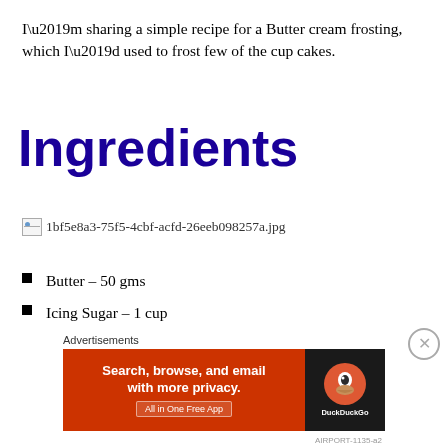I’m sharing a simple recipe for a Butter cream frosting, which I’d used to frost few of the cup cakes.
Ingredients
[Figure (other): Broken image placeholder: 1bf5e8a3-75f5-4cbf-acfd-26eeb098257a.jpg]
Butter – 50 gms
Icing Sugar – 1 cup
Milk – 1tsp
Vanilla Essence – A drop
Advertisements
Search, browse, and email with more privacy. All in One Free App | DuckDuckGo